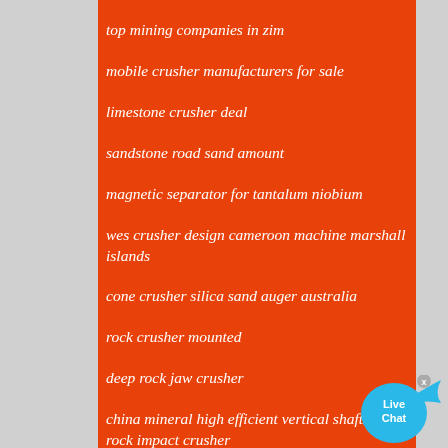top mining companies in zim
mobile crusher manufacturers for sale
limestone crusher deal
sandstone road sand amount
magnetic separator for tantalum niobium
wes crusher design cameroon machine marshall islands
cone crusher silica sand auger australia
rock crusher mounted
deep rock jaw crusher
china mineral high efficient vertical shaft fine rock impact crusher
reactions in coal mining